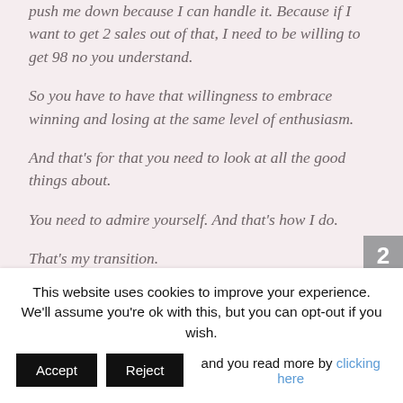push me down because I can handle it. Because if I want to get 2 sales out of that, I need to be willing to get 98 no you understand.
So you have to have that willingness to embrace winning and losing at the same level of enthusiasm.
And that's for that you need to look at all the good things about.
You need to admire yourself. And that's how I do.
That's my transition.
So look at your life, look at your day, have your POV you are proud of, start your day and see how you are going to transition.
This website uses cookies to improve your experience. We'll assume you're ok with this, but you can opt-out if you wish. and you read more by clicking here